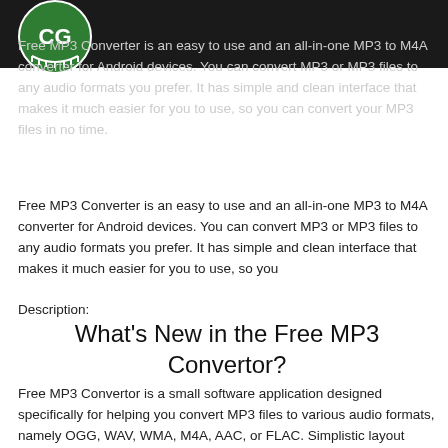[Figure (logo): Green circular logo with letters CG inside]
Free MP3 Converter is an easy to use and an all-in-one MP3 to M4A converter for Android devices. You can convert MP3 or MP3 files to any audio formats you prefer. It has simple and clean interface that makes it much easier for you to use, so you can convert your MP3 files in no time.
Description:
Free MP3 Converter is an easy to use and an all-in-one MP3 to M4A converter for Android devices. You can convert MP3 or MP3 files to any audio formats you prefer. It has simple and clean interface that makes it much easier for you to use, so you
What's New in the Free MP3 Convertor?
Free MP3 Convertor is a small software application designed specifically for helping you convert MP3 files to various audio formats, namely OGG, WAV, WMA, M4A, AAC, or FLAC. Simplistic layout